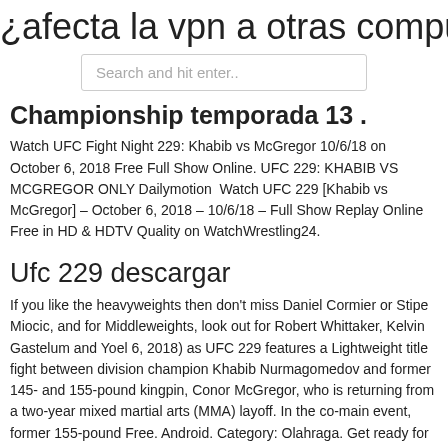¿afecta la vpn a otras computadoras
[Figure (screenshot): Search bar with placeholder text 'Search and hit enter..']
Championship temporada 13 .
Watch UFC Fight Night 229: Khabib vs McGregor 10/6/18 on October 6, 2018 Free Full Show Online. UFC 229: KHABIB VS MCGREGOR ONLY Dailymotion  Watch UFC 229 [Khabib vs McGregor] – October 6, 2018 – 10/6/18 – Full Show Replay Online Free in HD & HDTV Quality on WatchWrestling24.
Ufc 229 descargar
If you like the heavyweights then don't miss Daniel Cormier or Stipe Miocic, and for Middleweights, look out for Robert Whittaker, Kelvin Gastelum and Yoel 6, 2018) as UFC 229 features a Lightweight title fight between division champion Khabib Nurmagomedov and former 145- and 155-pound kingpin, Conor McGregor, who is returning from a two-year mixed martial arts (MMA) layoff. In the co-main event, former 155-pound Free. Android. Category: Olahraga. Get ready for UFC 229, Stay updated with Boxing, UFC and MMA + for